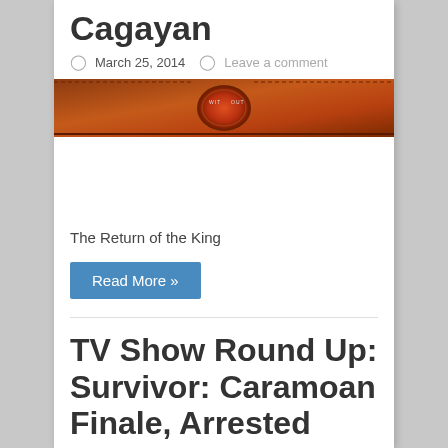Cagayan
March 25, 2014   Leave a comment
[Figure (photo): Close-up of a Survivor show emblem/logo with orange and brown tones]
The Return of the King
Read More »
TV Show Round Up: Survivor: Caramoan Finale, Arrested Development